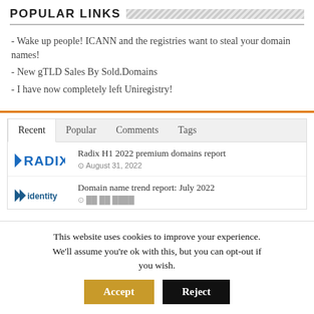POPULAR LINKS
- Wake up people! ICANN and the registries want to steal your domain names!
- New gTLD Sales By Sold.Domains
- I have now completely left Uniregistry!
Recent | Popular | Comments | Tags
Radix H1 2022 premium domains report
August 31, 2022
Domain name trend report: July 2022
This website uses cookies to improve your experience. We'll assume you're ok with this, but you can opt-out if you wish.
Accept | Reject